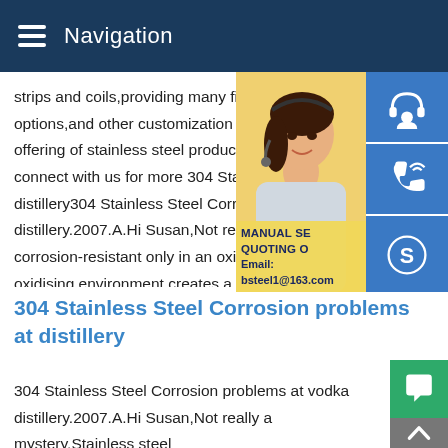Navigation
strips and coils,providing many finishing options,and other customization options.C offering of stainless steel products in our c connect with us for more 304 Stainless Ste distillery304 Stainless Steel Corrosion pro distillery.2007.A.Hi Susan,Not really a mys corrosion-resistant only in an oxidising env oxidising environment creates a sub-micro adherent,non-porous,chrome+nickel+iron underlying metal from contact with the ser
[Figure (photo): Woman wearing headset, customer service representative, with blue icon boxes for contact (headset, phone, Skype icons) and a yellow manual/quoting info box with email bsteel1@163.com]
304 Stainless Steel Corrosion problems at distillery
304 Stainless Steel Corrosion problems at vodka distillery.2007.A.Hi Susan,Not really a mystery.Stainless steel corrosion-resistant only in an oxidising environment,because a